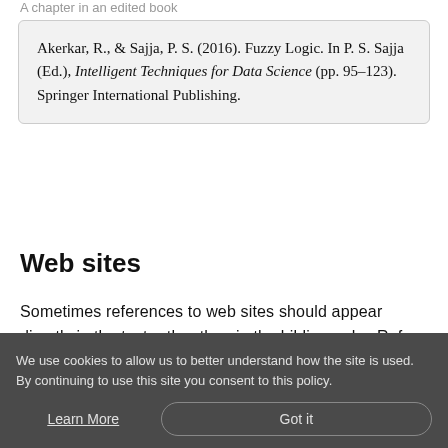A chapter in an edited book
Akerkar, R., & Sajja, P. S. (2016). Fuzzy Logic. In P. S. Sajja (Ed.), Intelligent Techniques for Data Science (pp. 95–123). Springer International Publishing.
Web sites
Sometimes references to web sites should appear directly in the text rather than in the bibliography. Refer to the Instructions to authors
We use cookies to allow us to better understand how the site is used. By continuing to use this site you consent to this policy.
Learn More
Got it